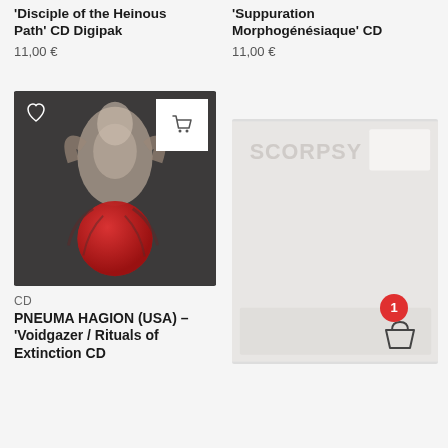'Disciple of the Heinous Path' CD Digipak
11,00 €
'Suppuration Morphogénésiaque' CD
11,00 €
[Figure (photo): Album cover with dark image of skeletal/figurative form holding red orb on dark background]
CD
PNEUMA HAGION (USA) – 'Voidgazer / Rituals of Extinction' CD
[Figure (photo): Partially visible album cover with blurred/light background, skeleton/faint text overlay]